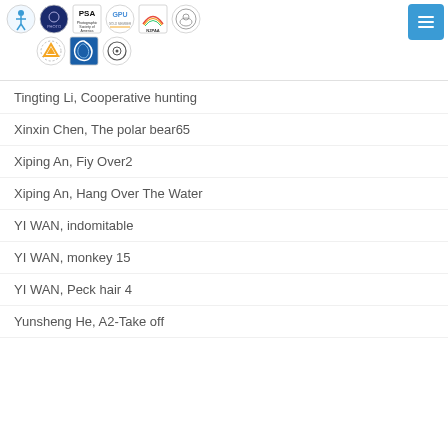Logos and navigation header
Tingting Li, Cooperative hunting
Xinxin Chen, The polar bear65
Xiping An, Fiy Over2
Xiping An, Hang Over The Water
YI WAN, indomitable
YI WAN, monkey 15
YI WAN, Peck hair 4
Yunsheng He, A2-Take off